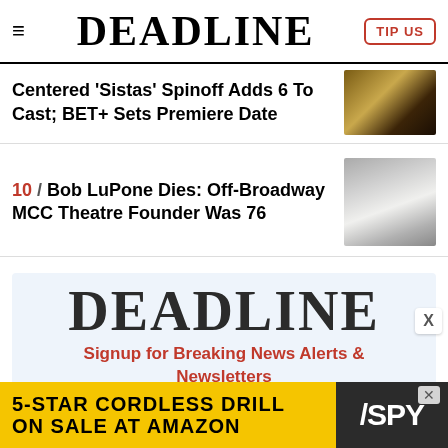DEADLINE | TIP US
Centered 'Sistas' Spinoff Adds 6 To Cast; BET+ Sets Premiere Date
[Figure (photo): TV show still with characters in yellow and dark clothing]
10 / Bob LuPone Dies: Off-Broadway MCC Theatre Founder Was 76
[Figure (photo): Portrait of Bob LuPone, older white-haired man in white shirt]
[Figure (logo): DEADLINE logo in large serif font on light blue background]
Signup for Breaking News Alerts & Newsletters
[Figure (infographic): Advertisement: 5-STAR CORDLESS DRILL ON SALE AT AMAZON — SPY brand ad with yellow background]